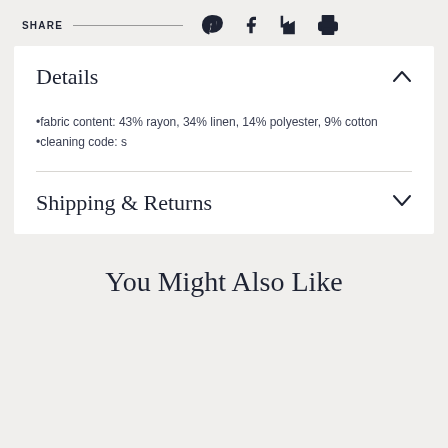SHARE
Details
•fabric content: 43% rayon, 34% linen, 14% polyester, 9% cotton
•cleaning code: s
Shipping & Returns
You Might Also Like